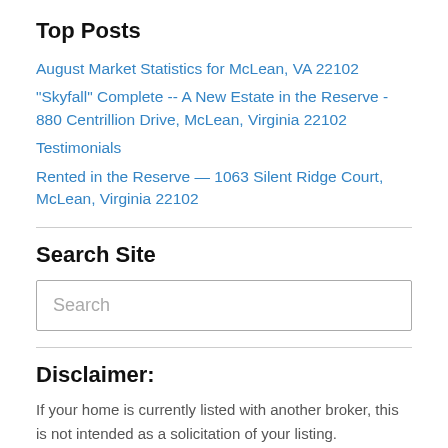Top Posts
August Market Statistics for McLean, VA 22102
"Skyfall" Complete -- A New Estate in the Reserve - 880 Centrillion Drive, McLean, Virginia 22102
Testimonials
Rented in the Reserve — 1063 Silent Ridge Court, McLean, Virginia 22102
Search Site
Search
Disclaimer:
If your home is currently listed with another broker, this is not intended as a solicitation of your listing.